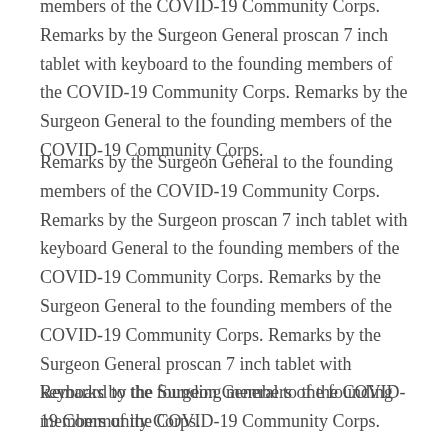members of the COVID-19 Community Corps. Remarks by the Surgeon General proscan 7 inch tablet with keyboard to the founding members of the COVID-19 Community Corps. Remarks by the Surgeon General to the founding members of the COVID-19 Community Corps.
Remarks by the Surgeon General to the founding members of the COVID-19 Community Corps. Remarks by the Surgeon proscan 7 inch tablet with keyboard General to the founding members of the COVID-19 Community Corps. Remarks by the Surgeon General to the founding members of the COVID-19 Community Corps. Remarks by the Surgeon General proscan 7 inch tablet with keyboard to the founding members of the COVID-19 Community Corps.
Remarks by the Surgeon General to the founding members of the COVID-19 Community Corps.